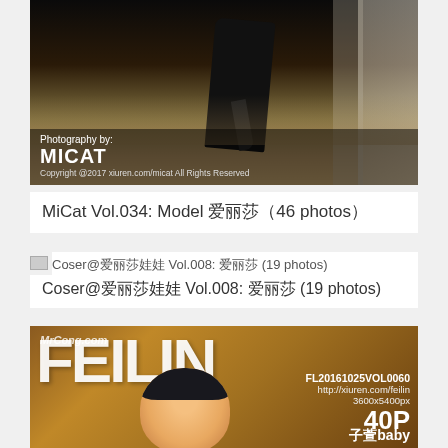[Figure (photo): Photo showing legs in black stockings and high heels, with overlay text showing Photography by: MICAT, Copyright @2017 xiuren.com/micat All Rights Reserved]
MiCat Vol.034: Model 爱丽莎 (46 photos)
[Figure (photo): Small thumbnail image for Coser entry]
Coser@爱丽莎娃娃 Vol.008: 爱丽莎 (19 photos)
Coser@爱丽莎娃娃 Vol.008: 爱丽莎 (19 photos)
[Figure (photo): FEILIN magazine cover image with watermark MrCong.com, model name 子萱baby, FL20161025VOL0060, http://xiuren.com/feilin, 3600x5400px, 40P]